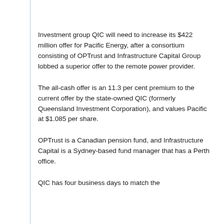Investment group QIC will need to increase its $422 million offer for Pacific Energy, after a consortium consisting of OPTrust and Infrastructure Capital Group lobbed a superior offer to the remote power provider.
The all-cash offer is an 11.3 per cent premium to the current offer by the state-owned QIC (formerly Queensland Investment Corporation), and values Pacific at $1.085 per share.
OPTrust is a Canadian pension fund, and Infrastructure Capital is a Sydney-based fund manager that has a Perth office.
QIC has four business days to match the